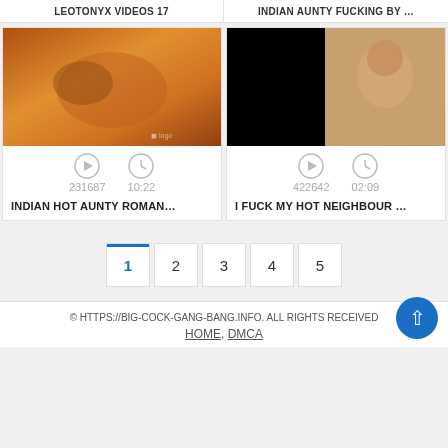LEOTONYX VIDEOS 17
INDIAN AUNTY FUCKING BY ...
[Figure (photo): Thumbnail of Indian woman in orange clothing lying down]
[Figure (photo): Thumbnail split: black area left, woman right]
231687   10:22
422642   02:09
INDIAN HOT AUNTY ROMAN...
I FUCK MY HOT NEIGHBOUR ...
1  2  3  4  5
© HTTPS://BIG-COCK-GANG-BANG.INFO. ALL RIGHTS RECEIVED
HOME, DMCA